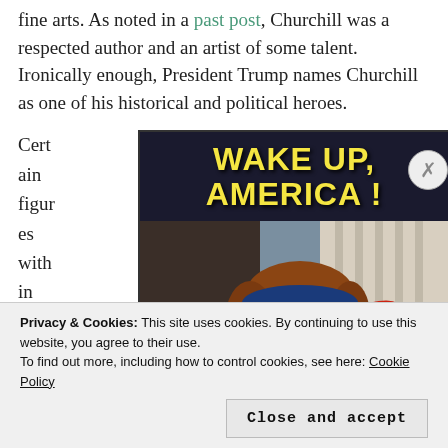fine arts. As noted in a past post, Churchill was a respected author and an artist of some talent. Ironically enough, President Trump names Churchill as one of his historical and political heroes.
Certain figures within the
[Figure (illustration): A World War I era American propaganda poster reading 'WAKE UP, AMERICA!' showing a sleeping woman wearing a stars-and-stripes cap with red band.]
Privacy & Cookies: This site uses cookies. By continuing to use this website, you agree to their use. To find out more, including how to control cookies, see here: Cookie Policy
Close and accept